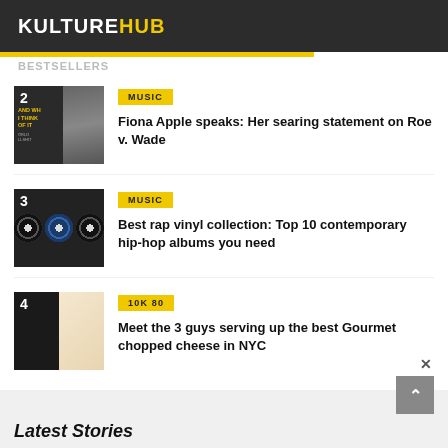KULTUREHUB
BESTSELLERS
2 | MUSIC | Fiona Apple speaks: Her searing statement on Roe v. Wade
3 | MUSIC | Best rap vinyl collection: Top 10 contemporary hip-hop albums you need
4 | 10K 80 | Meet the 3 guys serving up the best Gourmet chopped cheese in NYC
Latest Stories